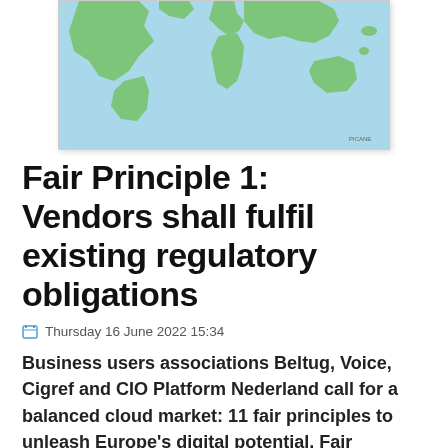[Figure (map): World map illustration showing green landmasses on light blue ocean background, partially cropped at the top of the page.]
Fair Principle 1: Vendors shall fulfil existing regulatory obligations
Thursday 16 June 2022 15:34
Business users associations Beltug, Voice, Cigref and CIO Platform Nederland call for a balanced cloud market: 11 fair principles to unleash Europe's digital potential. Fair principle 1 calls for every vendor to fulfil existing regulatory obligations.